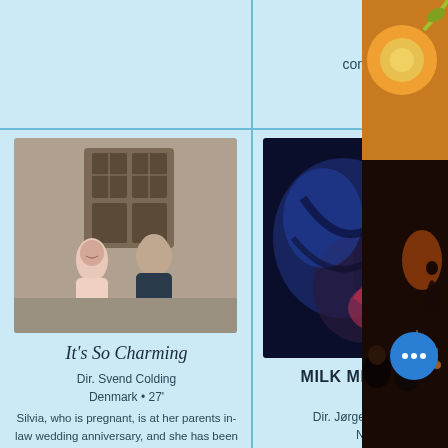consequences.
[Figure (photo): Two people standing in front of a building entrance, a woman and a man smiling]
It's So Charming
Dir. Svend Colding
Denmark • 27'
Silvia, who is pregnant, is at her parents in-law wedding anniversary, and she has been looking forward to it because its the first time she is meeting her boyfriend's
[Figure (photo): Close-up abstract dark blue and red swirling image]
MILK ME (MELK MEG)
Dir. Jørgen Jensås Sivertsen
Norway • 23'
In a remote No valley, the youn Per lives his lonely life. He shares the farm with
[Figure (photo): Right column showing partial food and audience scene in dark warm tones]